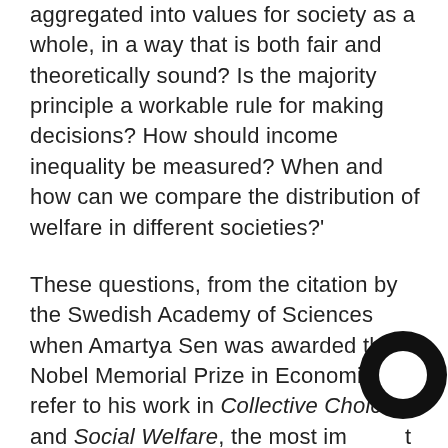aggregated into values for society as a whole, in a way that is both fair and theoretically sound? Is the majority principle a workable rule for making decisions? How should income inequality be measured? When and how can we compare the distribution of welfare in different societies?'
These questions, from the citation by the Swedish Academy of Sciences when Amartya Sen was awarded the Nobel Memorial Prize in Economics, refer to his work in Collective Choice and Social Welfare, the most important of all his early books. Originally published in 1970, this classic work in welfare economics